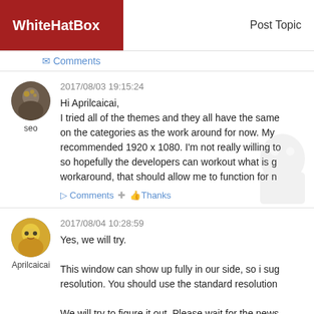WhiteHatBox | Post Topic
Comments
2017/08/03 19:15:24
seo
Hi Aprilcaicai,
I tried all of the themes and they all have the same on the categories as the work around for now. My recommended 1920 x 1080. I'm not really willing to so hopefully the developers can workout what is g workaround, that should allow me to function for n
Comments  Thanks
2017/08/04 10:28:59
Aprilcaicai
Yes, we will try.

This window can show up fully in our side, so i sug resolution. You should use the standard resolution

We will try to figure it out. Please wait for the news